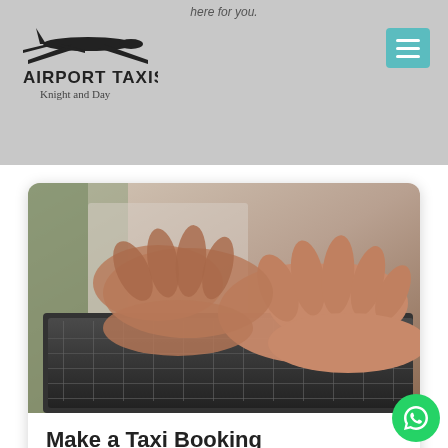here for you.
[Figure (logo): Airport Taxis Knight and Day logo with airplane silhouette]
[Figure (photo): Hands typing on a laptop keyboard, close-up photograph]
Make a Taxi Booking
Just complete the simple booking form. We make